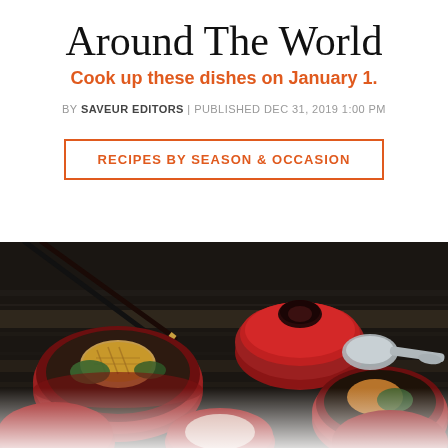Around The World
Cook up these dishes on January 1.
BY SAVEUR EDITORS | PUBLISHED DEC 31, 2019 1:00 PM
RECIPES BY SEASON & OCCASION
[Figure (photo): Overhead view of Japanese lacquer bowls with food (fish, vegetables), chopsticks, a red lidded bowl, and a grey ceramic spoon on a dark wooden table surface. Bottom portion of image fades to white.]